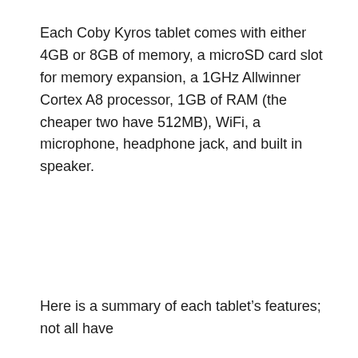Each Coby Kyros tablet comes with either 4GB or 8GB of memory, a microSD card slot for memory expansion, a 1GHz Allwinner Cortex A8 processor, 1GB of RAM (the cheaper two have 512MB), WiFi, a microphone, headphone jack, and built in speaker.
Here is a summary of each tablet’s features; not all have